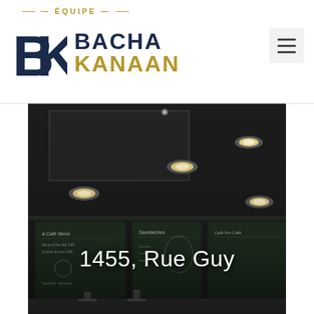[Figure (logo): Équipe Bacha Kanaan logo with BK monogram in dark navy and gold lettering]
[Figure (photo): Interior photo of a cafe restaurant with dark ceiling, recessed lighting, and chalkboard menu boards, showing bar stools and counter area]
1455, Rue Guy